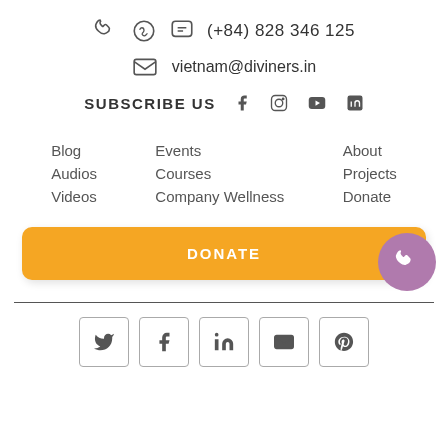(+84) 828 346 125
vietnam@diviners.in
SUBSCRIBE US
Blog
Audios
Videos
Events
Courses
Company Wellness
About
Projects
Donate
DONATE
[Figure (other): Social media share buttons row: Twitter, Facebook, LinkedIn, Email, Pinterest]